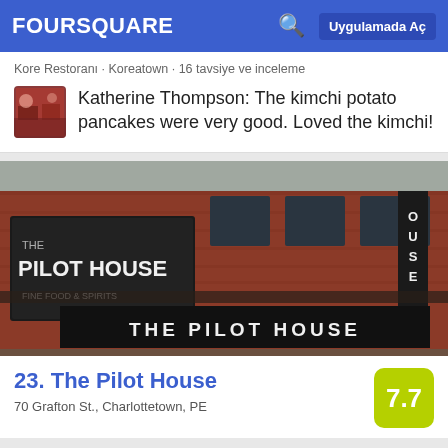FOURSQUARE | Uygulamada Aç
Kore Restoranı · Koreatown · 16 tavsiye ve inceleme
Katherine Thompson: The kimchi potato pancakes were very good. Loved the kimchi!
[Figure (photo): Exterior photo of The Pilot House restaurant, a red brick building with black signage reading 'PILOT HOUSE FINE FOOD & SPIRITS' and 'THE PILOT HOUSE']
23. The Pilot House
70 Grafton St., Charlottetown, PE